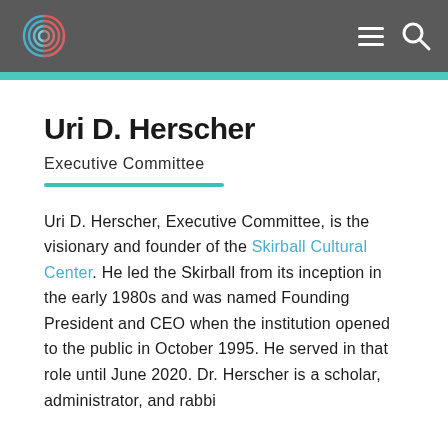Uri D. Herscher — site header with logo, menu, and search icons
Uri D. Herscher
Executive Committee
Uri D. Herscher, Executive Committee, is the visionary and founder of the Skirball Cultural Center. He led the Skirball from its inception in the early 1980s and was named Founding President and CEO when the institution opened to the public in October 1995. He served in that role until June 2020. Dr. Herscher is a scholar, administrator, and rabbi